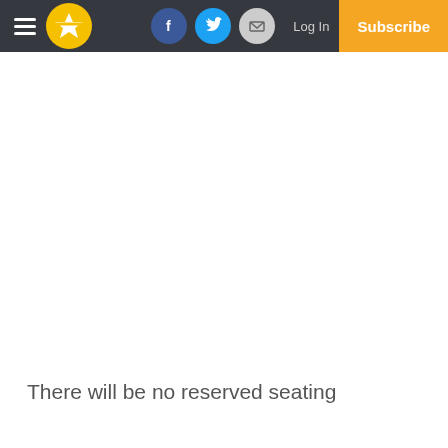Navigation bar with hamburger menu, star logo, Facebook, Twitter, Email social icons, Log In, and Subscribe button
There will be no reserved seating